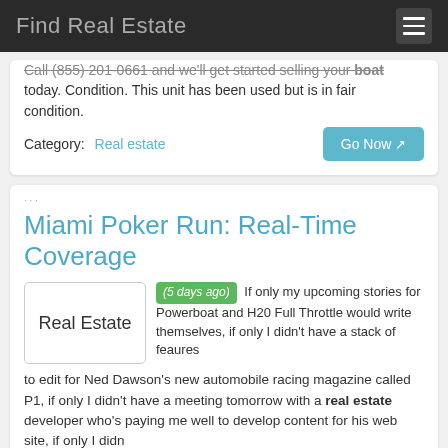Find Real Estate
Call (855) 201-0661 and we'll get started selling your boat today. Condition. This unit has been used but is in fair condition.
Category: Real estate
Miami Poker Run: Real-Time Coverage
(5 days ago) If only my upcoming stories for Powerboat and H20 Full Throttle would write themselves, if only I didn't have a stack of feaures to edit for Ned Dawson's new automobile racing magazine called P1, if only I didn't have a meeting tomorrow with a real estate developer who's paying me well to develop content for his web site, if only I didn
Category: Real estate